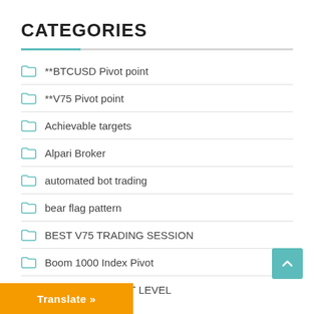CATEGORIES
**BTCUSD Pivot point
**V75 Pivot point
Achievable targets
Alpari Broker
automated bot trading
bear flag pattern
BEST V75 TRADING SESSION
Boom 1000 Index Pivot
DEX PIVOT POINT LEVEL